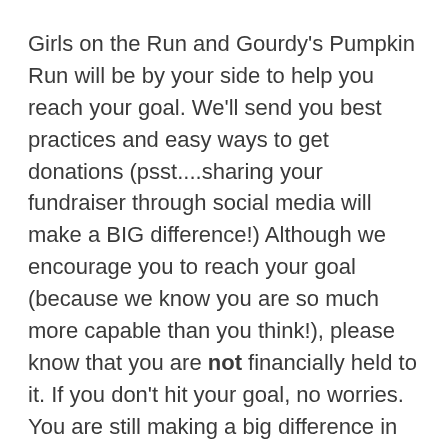Girls on the Run and Gourdy's Pumpkin Run will be by your side to help you reach your goal. We'll send you best practices and easy ways to get donations (psst....sharing your fundraiser through social media will make a BIG difference!) Although we encourage you to reach your goal (because we know you are so much more capable than you think!), please know that you are not financially held to it. If you don't hit your goal, no worries. You are still making a big difference in empowering the next generation of strong, confident, healthy, and brave women!